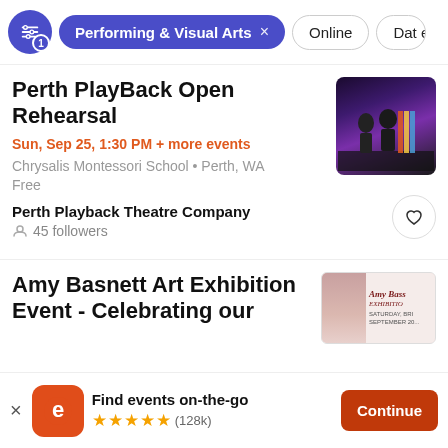Performing & Visual Arts  × | Online | Date
Perth PlayBack Open Rehearsal
Sun, Sep 25, 1:30 PM + more events
Chrysalis Montessori School • Perth, WA
Free
Perth Playback Theatre Company
45 followers
[Figure (photo): Photo of performers on stage with colorful backdrop]
Amy Basnett Art Exhibition Event - Celebrating our
[Figure (photo): Amy Basnett Art Exhibition promotional image with cursive text]
Find events on-the-go
★★★★★ (128k)
Continue